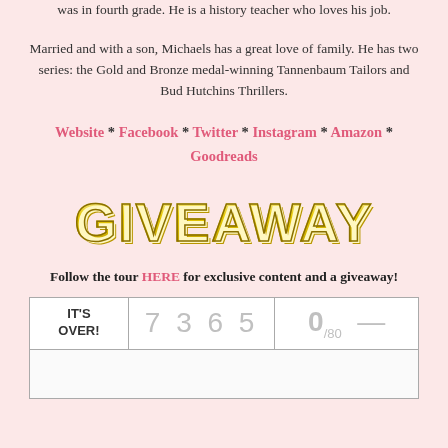was in fourth grade. He is a history teacher who loves his job.
Married and with a son, Michaels has a great love of family. He has two series: the Gold and Bronze medal-winning Tannenbaum Tailors and Bud Hutchins Thrillers.
Website * Facebook * Twitter * Instagram * Amazon * Goodreads
[Figure (other): GIVEAWAY text in large decorative gold lettering]
Follow the tour HERE for exclusive content and a giveaway!
| IT'S OVER! | 7 3 6 5 | 0/80 — |